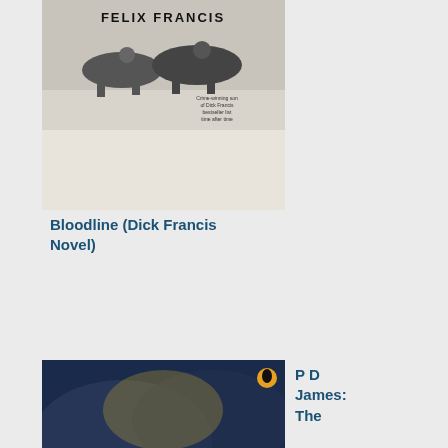[Figure (illustration): Book cover: Bloodline by Felix Francis, showing horse racing imagery]
Bloodline (Dick Francis Novel)
[Figure (illustration): Book cover: The Lighthouse by PD James, showing a lighthouse in stormy sea]
P D James: The
Lighthouse: An Adam Dalgliesh Mystery
[Figure (illustration): Book cover: Never Go Back by Lee Child (Jack Reacher novel)]
Lee Child: Never Go Back
rea
Too
hot
to
do
mu
els
not
tha
l
nee
an
exc
anc
as
l
am
get
a
bit
bel
in
my
rov